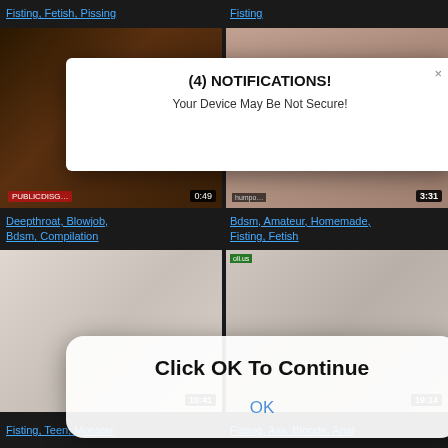Fisting, Fetish, Pissing
Fisting
[Figure (photo): Adult video thumbnail top-left]
[Figure (photo): Adult video thumbnail top-right with duration 3:31]
Deepthroat, Blowjob, Bdsm, Compilation
Bdsm, Amateur, Homemade, Fisting, Fetish
[Figure (photo): Adult video thumbnail bottom-left with duration 10:41]
[Figure (photo): Adult video thumbnail bottom-right with duration 19:14]
Fisting, Teen, Monster
Fisting, Ass, Blonde, Anal
[Figure (screenshot): Browser notification popup: (4) NOTIFICATIONS! Your Device May Be Not Secure!]
[Figure (screenshot): Browser dialog popup: Click OK To Continue, with OK button]